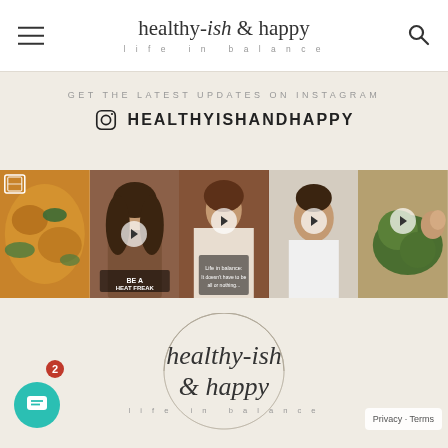healthy-ish & happy — life in balance
GET THE LATEST UPDATES ON INSTAGRAM
HEALTHYISHANDHAPPY
[Figure (photo): Five Instagram post thumbnails in a horizontal strip: food dish, woman video 'BE A HEAT FREAK', woman eating video, woman face video, green energy balls held in hand]
[Figure (logo): healthy-ish & happy — life in balance logo with circle outline]
Privacy · Terms